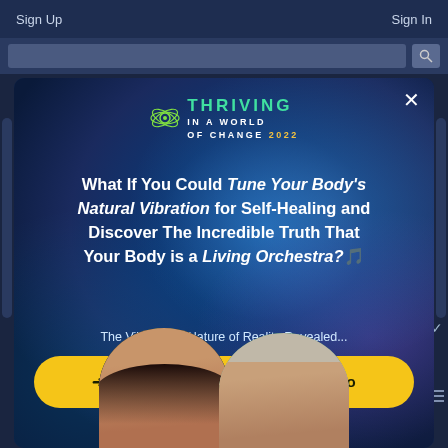Sign Up    Sign In
[Figure (screenshot): Website screenshot showing a modal popup advertisement for 'Thriving in a World of Change 2022' summit with DNA helix background image, headline text, and CTA button]
What If You Could Tune Your Body's Natural Vibration for Self-Healing and Discover The Incredible Truth That Your Body is a Living Orchestra?
The Vibrational Nature of Reality Revealed...
→ CLICK HERE To Watch The Video